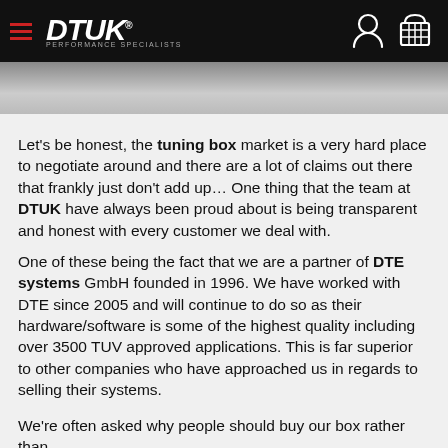DTUK PERFORMANCE SPECIALISTS
Let's be honest, the tuning box market is a very hard place to negotiate around and there are a lot of claims out there that frankly just don't add up… One thing that the team at DTUK have always been proud about is being transparent and honest with every customer we deal with.
One of these being the fact that we are a partner of DTE systems GmbH founded in 1996. We have worked with DTE since 2005 and will continue to do so as their hardware/software is some of the highest quality including over 3500 TUV approved applications. This is far superior to other companies who have approached us in regards to selling their systems.
We're often asked why people should buy our box rather than